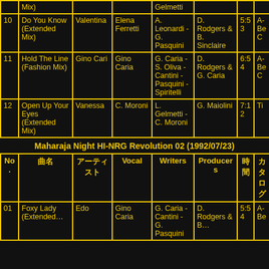| No. | 曲名 | アーティスト | Vocal | Writers | Producers | 時間 | カタログ |
| --- | --- | --- | --- | --- | --- | --- | --- |
|  | Mix) |  |  | Gelmetti |  |  |  |
| 10 | Do You Know (Extended Mix) | Valentina | Elena Ferretti | A. Leonardi - G. Pasquini | D. Rodgers & B. Sinclaire | 5:53 | A-Be C |
| 11 | Hold The Line (Fashion Mix) | Gino Cari | Gino Caria | G. Caria - S. Oliva - Cantini - Pasquini - Spiritelli | D. Rodgers & G. Caria | 6:54 | A-Be C |
| 12 | Open Up Your Eyes (Extended Mix) | Vanessa | C. Moroni | L. Gelmetti - C. Moroni | G. Maiolini | 7:12 | Ti |
Maharaja Night HI-NRG Revolution 02 (1992/07/23)
| No. | 曲名 | アーティスト | Vocal | Writers | Producers | 時間 | カタログ |
| --- | --- | --- | --- | --- | --- | --- | --- |
| 01 | Foxy Lady (Extended… | Edo | Gino Caria | G. Caria - Cantini - G. Pasquini | D. Rodgers & B… | 5:54 | A-Be |